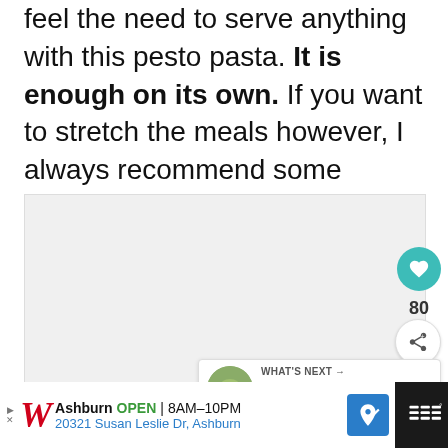feel the need to serve anything with this pesto pasta. It is enough on its own. If you want to stretch the meals however, I always recommend some delicious dinner rolls or bread with butter. Always butter. Enjoy!
[Figure (screenshot): Recipe image carousel area with heart/like button showing count 80, share button, and a 'What's Next' widget showing Creamy Spring Past... with a food thumbnail and navigation dots]
[Figure (screenshot): Advertisement banner for Walgreens showing Ashburn location, OPEN 8AM-10PM, address 20321 Susan Leslie Dr, Ashburn, with navigation arrow icon and dark right panel]